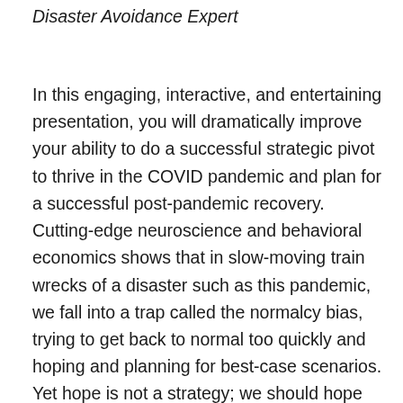Disaster Avoidance Expert
In this engaging, interactive, and entertaining presentation, you will dramatically improve your ability to do a successful strategic pivot to thrive in the COVID pandemic and plan for a successful post-pandemic recovery. Cutting-edge neuroscience and behavioral economics shows that in slow-moving train wrecks of a disaster such as this pandemic, we fall into a trap called the normalcy bias, trying to get back to normal too quickly and hoping and planning for best-case scenarios. Yet hope is not a strategy; we should hope for the best, but plan for the worst. That means you need to, first of all, challenge your underlying